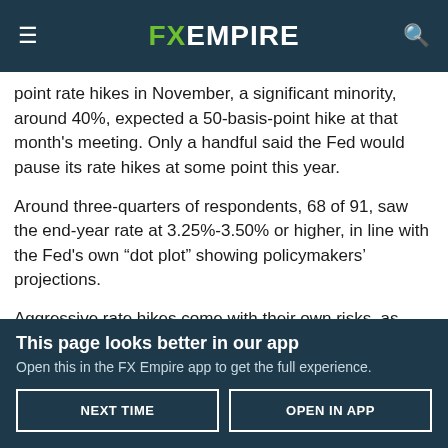FX EMPIRE
point rate hikes in November, a significant minority, around 40%, expected a 50-basis-point hike at that month's meeting. Only a handful said the Fed would pause its rate hikes at some point this year.
Around three-quarters of respondents, 68 of 91, saw the end-year rate at 3.25%-3.50% or higher, in line with the Fed's own “dot plot” showing policymakers’ projections.
Aggressive rate hikes come with their own risks, as reflected in the Fed’s economic projections where forecasts for the U.S.
This page looks better in our app
Open this in the FX Empire app to get the full experience.